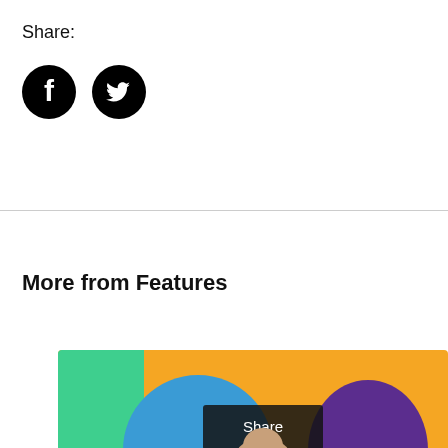Share:
[Figure (illustration): Facebook and Twitter social share icon buttons (black circles with white logos)]
More from Features
[Figure (photo): Feature article card with colorful background (green, orange, blue, purple shapes) and a man smiling, with a Share tooltip overlay]